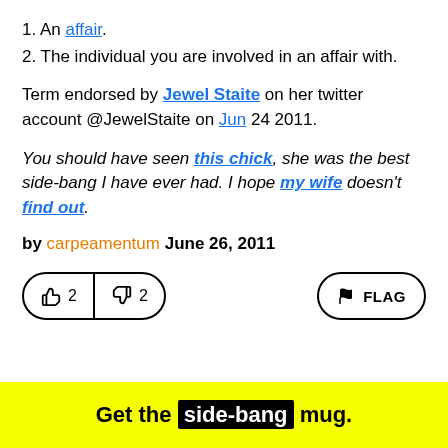1. An affair.
2. The individual you are involved in an affair with.
Term endorsed by Jewel Staite on her twitter account @JewelStaite on Jun 24 2011.
You should have seen this chick, she was the best side-bang I have ever had. I hope my wife doesn't find out.
by carpeamentum June 26, 2011
[Figure (other): Thumbs up vote button showing count 2, thumbs down vote button showing count 2, and FLAG button on the right]
Get the side-bang mug.